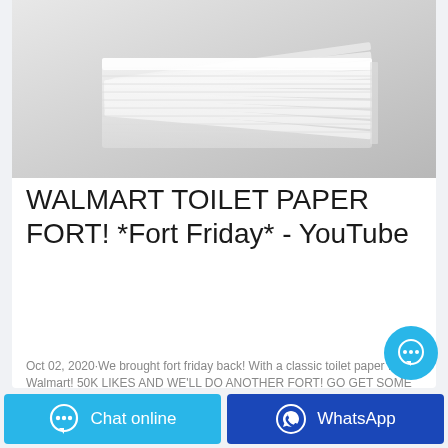[Figure (photo): Stack of white toilet paper sheets fanned out on a gray surface]
WALMART TOILET PAPER FORT! *Fort Friday* - YouTube
Oct 02, 2020·We brought fort friday back! With a classic toilet paper fort in Walmart! 50K LIKES AND WE'LL DO ANOTHER FORT! GO GET SOME MERCH! https://jstushopBECOM...
[Figure (other): Floating chat bubble button (cyan circle with ellipsis icon)]
[Figure (other): Chat online button (cyan) and WhatsApp button (dark blue) in bottom bar]